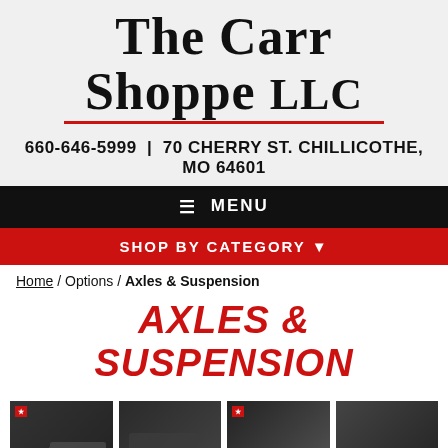The Carr Shoppe LLC
660-646-5999 | 70 CHERRY ST. CHILLICOTHE, MO 64601
MENU
SHOP BY CATEGORY
Home / Options / Axles & Suspension
AXLES & SUSPENSION
[Figure (screenshot): Four product category tiles: HUTCH SUSPENSION, DUMP TRAILER, RIDEWELL AIR RIDE, HYDRAULIC DISC BRAKES]